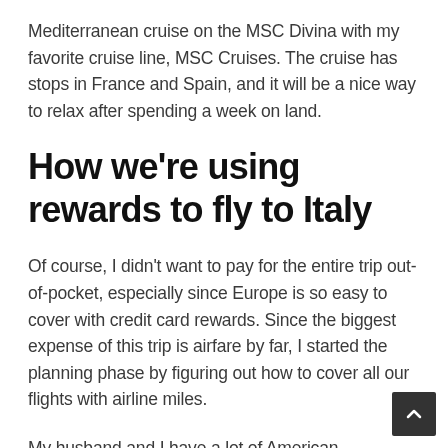Mediterranean cruise on the MSC Divina with my favorite cruise line, MSC Cruises. The cruise has stops in France and Spain, and it will be a nice way to relax after spending a week on land.
How we're using rewards to fly to Italy
Of course, I didn't want to pay for the entire trip out-of-pocket, especially since Europe is so easy to cover with credit card rewards. Since the biggest expense of this trip is airfare by far, I started the planning phase by figuring out how to cover all our flights with airline miles.
My husband and I have a lot of American AAdvantage miles from credit card sign-up bonuses (from cards like the Citi/AAdvantage Executive World Elite Mastercard, which Insider Picks has deemed the best